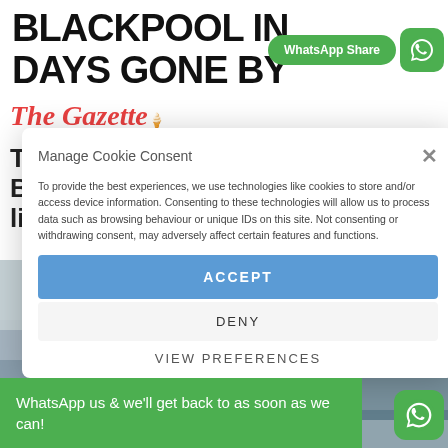BLACKPOOL IN DAYS GONE BY
[Figure (logo): WhatsApp Share button (green rounded rectangle) and WhatsApp icon (green rounded square with phone icon)]
[Figure (logo): The Gazette logo in red italic serif font with small ice cream cone illustration]
These street scenes bring Blackpool's earlier days back to life.
[Figure (photo): Black and white historical street scene of Blackpool with a lamppost visible]
Manage Cookie Consent
To provide the best experiences, we use technologies like cookies to store and/or access device information. Consenting to these technologies will allow us to process data such as browsing behaviour or unique IDs on this site. Not consenting or withdrawing consent, may adversely affect certain features and functions.
ACCEPT
DENY
VIEW PREFERENCES
WhatsApp us & we'll get back to as soon as we can!